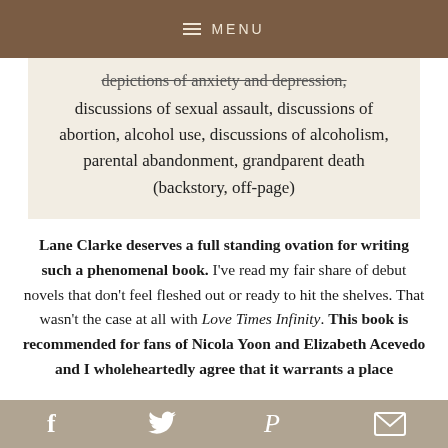MENU
depictions of anxiety and depression, discussions of sexual assault, discussions of abortion, alcohol use, discussions of alcoholism, parental abandonment, grandparent death (backstory, off-page)
Lane Clarke deserves a full standing ovation for writing such a phenomenal book. I've read my fair share of debut novels that don't feel fleshed out or ready to hit the shelves. That wasn't the case at all with Love Times Infinity. This book is recommended for fans of Nicola Yoon and Elizabeth Acevedo and I wholeheartedly agree that it warrants a place
f  Twitter  P  mail